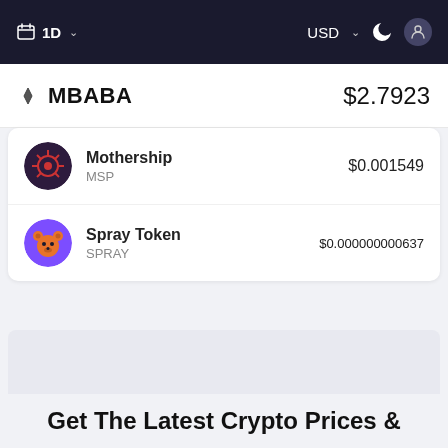1D | USD
MBABA $2.7923
| Token | Symbol | Price |
| --- | --- | --- |
| Mothership | MSP | $0.001549 |
| Spray Token | SPRAY | $0.000000000637 |
Advertise Here
Get The Latest Crypto Prices &